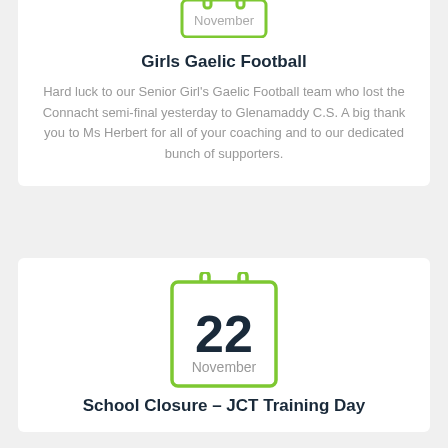[Figure (illustration): Calendar icon showing a previous month (partially visible at top)]
Girls Gaelic Football
Hard luck to our Senior Girl's Gaelic Football team who lost the Connacht semi-final yesterday to Glenamaddy C.S. A big thank you to Ms Herbert for all of your coaching and to our dedicated bunch of supporters.
[Figure (illustration): Calendar icon showing 22 November]
School Closure – JCT Training Day